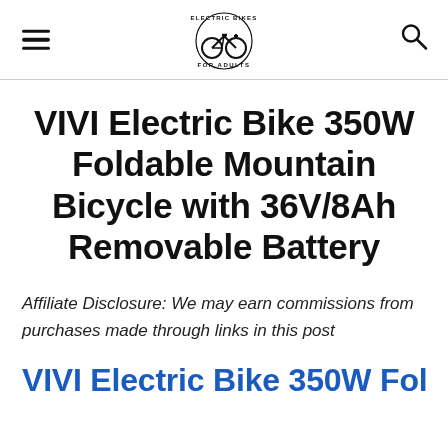Electric Bikes For Adults [logo with hamburger menu and search icon]
VIVI Electric Bike 350W Foldable Mountain Bicycle with 36V/8Ah Removable Battery
Affiliate Disclosure: We may earn commissions from purchases made through links in this post
VIVI Electric Bike 350W Foldable